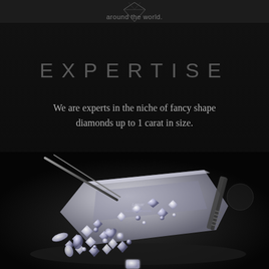around the world.
EXPERTISE
We are experts in the niche of fancy shape diamonds up to 1 carat in size.
[Figure (photo): A silver/metal diamond tray with tweezers holding loose fancy-shaped diamonds of various cuts, spilling out onto a dark reflective surface. A single emerald-cut diamond sits at the bottom center.]